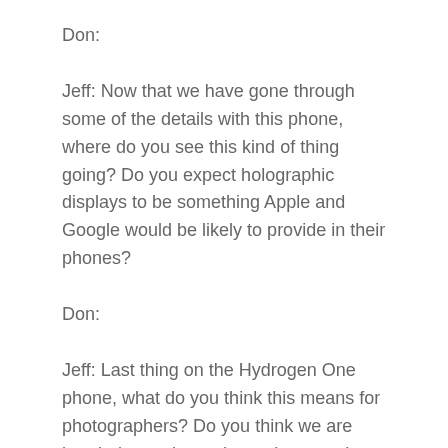Don:
Jeff: Now that we have gone through some of the details with this phone, where do you see this kind of thing going?  Do you expect holographic displays to be something Apple and Google would be likely to provide in their phones?
Don:
Jeff: Last thing on the Hydrogen One phone, what do you think this means for photographers?  Do you think we are headed to a place where photographers need to pay more attention to stereoscopic imaging, assuming that is even the right term for creating photos that will